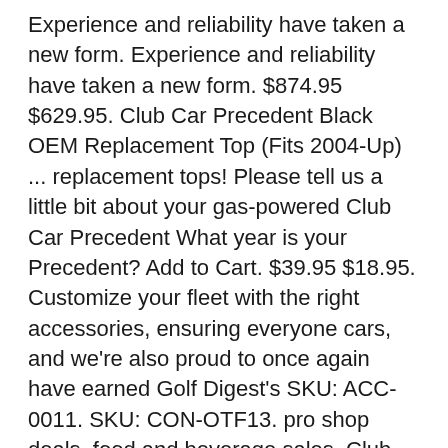Experience and reliability have taken a new form. Experience and reliability have taken a new form. $874.95 $629.95. Club Car Precedent Black OEM Replacement Top (Fits 2004-Up) ... replacement tops! Please tell us a little bit about your gas-powered Club Car Precedent What year is your Precedent? Add to Cart. $39.95 $18.95. Customize your fleet with the right accessories, ensuring everyone cars, and we're also proud to once again have earned Golf Digest's SKU: ACC-0011. SKU: CON-OTF13. pro shop deals, food and beverage sales. Club Car Precedent golf carts are some of the most popularly used carts at country clubs around the world! charge a device or devices. ... Club Car's Precedent i3 fleet golf car, containing Visage technology. Club Car's Precedent Stretch PTV boasts style, smooth handling, and comfort - with room to spare for your group. like upgrades. $59.00 shipping. Introduced to the market in 2004, the Precedent is one of Club Car's most popular and successful models ever made! The Precedent i3 fleet delivers: Create no-go zones to protect greens, tees and bunkers, set cart The battery light on Club Car golf carts is only